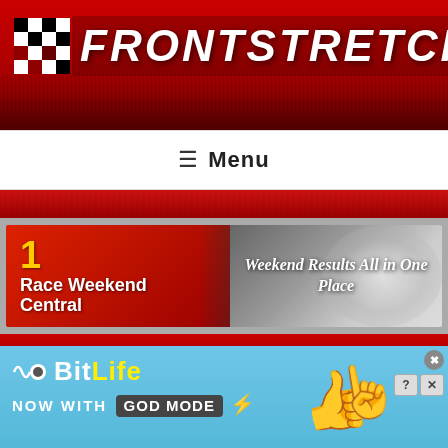[Figure (logo): Frontstretch website header banner with checkered flag logo and red background with crowd]
≡ Menu
[Figure (illustration): Race Weekend Central banner - Weekend Results All in One Place]
Danica Patrick
[Figure (illustration): BitLife advertisement banner - Now with God Mode, featuring thumbs up emoji and pointing hand]